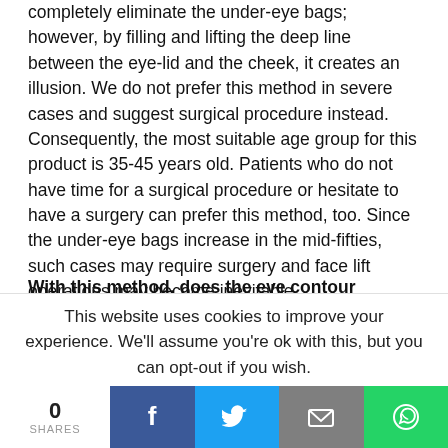completely eliminate the under-eye bags; however, by filling and lifting the deep line between the eye-lid and the cheek, it creates an illusion. We do not prefer this method in severe cases and suggest surgical procedure instead. Consequently, the most suitable age group for this product is 35-45 years old. Patients who do not have time for a surgical procedure or hesitate to have a surgery can prefer this method, too. Since the under-eye bags increase in the mid-fifties, such cases may require surgery and face lift operations may become inevitable.
With this method, does the eye contour become younger or do we require additional procedures?
Actually, the under-eye light filling takes care of the most of the problem. Botulinum toxin applications provide successful solutions for eyebrow diminution and tiny wrinkles...
This website uses cookies to improve your experience. We'll assume you're ok with this, but you can opt-out if you wish.
0 SHARES